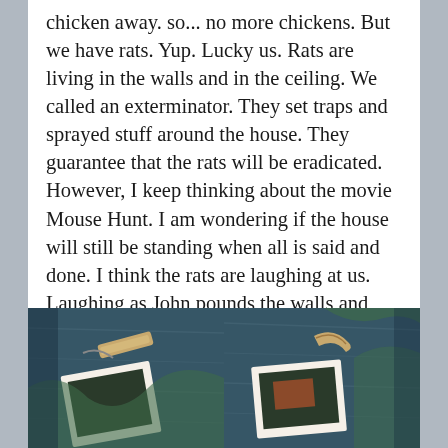chicken away. so... no more chickens. But we have rats. Yup. Lucky us. Rats are living in the walls and in the ceiling. We called an exterminator. They set traps and sprayed stuff around the house. They guarantee that the rats will be eradicated. However, I keep thinking about the movie Mouse Hunt. I am wondering if the house will still be standing when all is said and done. I think the rats are laughing at us. Laughing as John pounds the walls and yells. Laughing as they go around the traps and find new ways into the house. Laughing as they keep us up all night chewing in the walls and scampering across the ceilings. Gah!
[Figure (photo): Photo of rat traps (wooden snap traps) on a dark blue/green surface, left image]
[Figure (photo): Photo of rat traps (wooden snap traps) on a dark blue/green surface, right image]